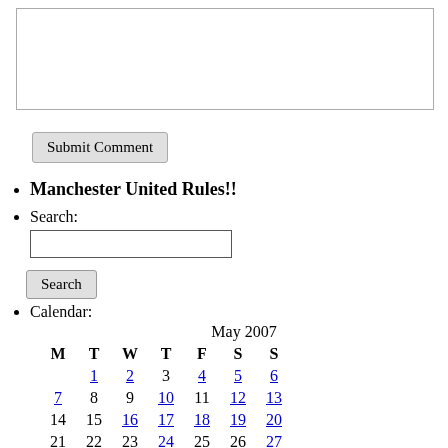[Figure (other): Textarea input box for comment submission]
Submit Comment
Manchester United Rules!!
Search:
Search input field
Search
Calendar:
| M | T | W | T | F | S | S |
| --- | --- | --- | --- | --- | --- | --- |
|  | 1 | 2 | 3 | 4 | 5 | 6 |
| 7 | 8 | 9 | 10 | 11 | 12 | 13 |
| 14 | 15 | 16 | 17 | 18 | 19 | 20 |
| 21 | 22 | 23 | 24 | 25 | 26 | 27 |
| 28 | 29 | 30 | 31 |  |  |  |
« Apr    Jun »